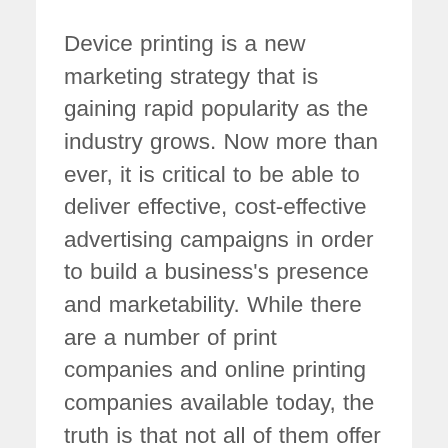Device printing is a new marketing strategy that is gaining rapid popularity as the industry grows. Now more than ever, it is critical to be able to deliver effective, cost-effective advertising campaigns in order to build a business's presence and marketability. While there are a number of print companies and online printing companies available today, the truth is that not all of them offer the same quality services or the same price points. In order to be sure that you are getting the most for your money and that you are maximizing your advertising and marketing efforts, it is important that you are able to work with a company that understands your needs and how they fit into your marketing goals. Here